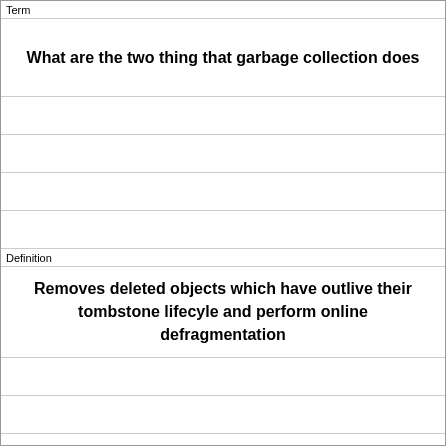Term
What are the two thing that garbage collection does
Definition
Removes deleted objects which have outlive their tombstone lifecyle and perform online defragmentation